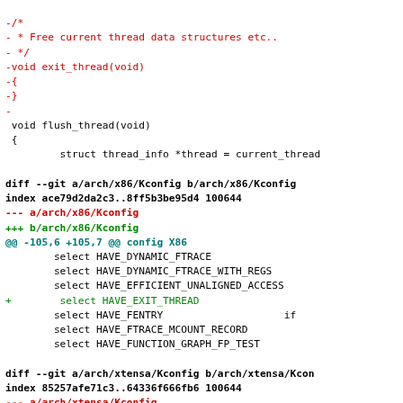diff code showing removal of exit_thread and changes to arch/x86/Kconfig and arch/xtensa/Kconfig
[Figure (screenshot): Source code diff showing removal of exit_thread function and additions of HAVE_EXIT_THREAD config selects in x86 and xtensa Kconfig files]